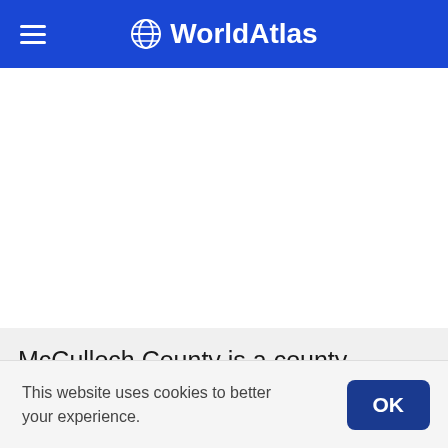WorldAtlas
McCulloch County is a county equivalent area found in Texas, USA. The county government of
This website uses cookies to better your experience.